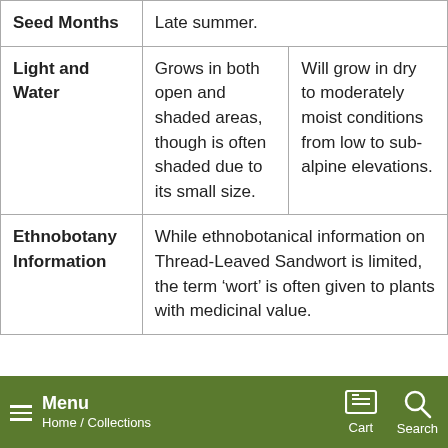| Seed Months | Late summer. |  |
| Light and Water | Grows in both open and shaded areas, though is often shaded due to its small size. | Will grow in dry to moderately moist conditions from low to sub-alpine elevations. |
| Ethnobotany Information | While ethnobotanical information on Thread-Leaved Sandwort is limited, the term ‘wort’ is often given to plants with medicinal value. |  |
Menu Home / Collections | Cart | Search